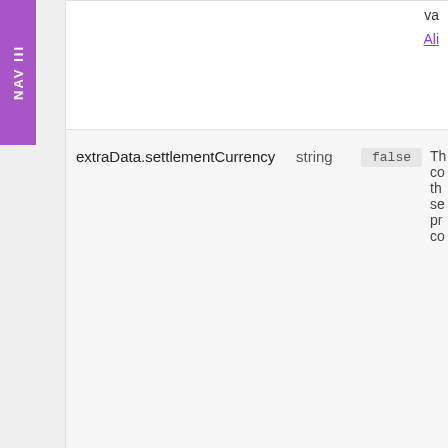NAV III
| Field | Type | Required | Description |
| --- | --- | --- | --- |
| extraData.settlementCurrency | string | false | Th co th se pr co |
| extraData.allowedPspRegions | string | false | Co all AT |
| extraData.splitSettlementId | string | false | Ali su |